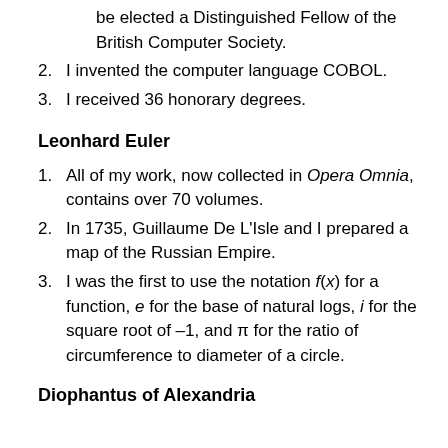be elected a Distinguished Fellow of the British Computer Society.
2. I invented the computer language COBOL.
3. I received 36 honorary degrees.
Leonhard Euler
1. All of my work, now collected in Opera Omnia, contains over 70 volumes.
2. In 1735, Guillaume De L'Isle and I prepared a map of the Russian Empire.
3. I was the first to use the notation f(x) for a function, e for the base of natural logs, i for the square root of –1, and π for the ratio of circumference to diameter of a circle.
Diophantus of Alexandria